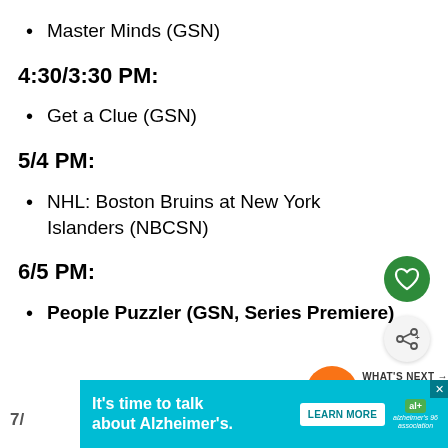Master Minds (GSN)
4:30/3:30 PM:
Get a Clue (GSN)
5/4 PM:
NHL: Boston Bruins at New York Islanders (NBCSN)
6/5 PM:
People Puzzler (GSN, Series Premiere)
7/
It's time to talk about Alzheimer's. LEARN MORE